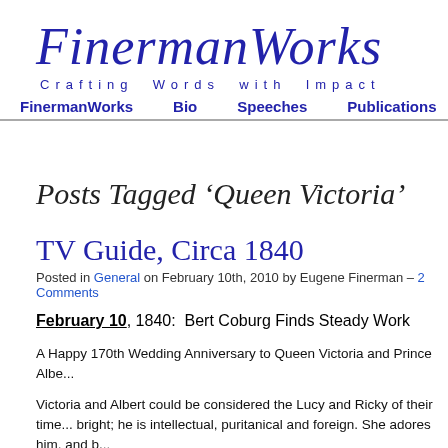FinermanWorks
Crafting Words with Impact
FinermanWorks | Bio | Speeches | Publications
Posts Tagged ‘Queen Victoria’
TV Guide, Circa 1840
Posted in General on February 10th, 2010 by Eugene Finerman – 2 Comments
February 10, 1840:  Bert Coburg Finds Steady Work
A Happy 170th Wedding Anniversary to Queen Victoria and Prince Albe...
Victoria and Albert could be considered the Lucy and Ricky of their time... bright; he is intellectual, puritanical and foreign. She adores him, and b...